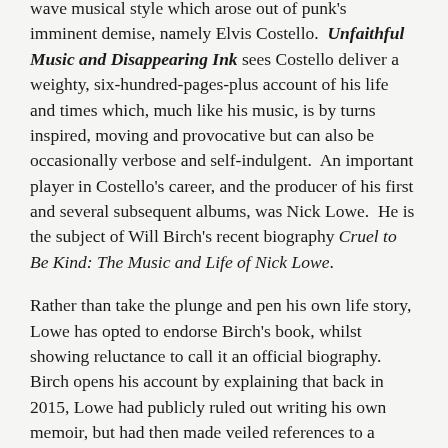wave musical style which arose out of punk's imminent demise, namely Elvis Costello. Unfaithful Music and Disappearing Ink sees Costello deliver a weighty, six-hundred-pages-plus account of his life and times which, much like his music, is by turns inspired, moving and provocative but can also be occasionally verbose and self-indulgent. An important player in Costello's career, and the producer of his first and several subsequent albums, was Nick Lowe. He is the subject of Will Birch's recent biography Cruel to Be Kind: The Music and Life of Nick Lowe.
Rather than take the plunge and pen his own life story, Lowe has opted to endorse Birch's book, whilst showing reluctance to call it an official biography. Birch opens his account by explaining that back in 2015, Lowe had publicly ruled out writing his own memoir, but had then made veiled references to a researcher who was working on an account of his life and times. Lowe, however, didn't seem completely comfortable with this development,